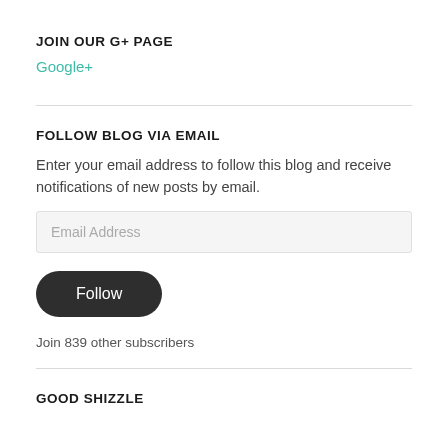JOIN OUR G+ PAGE
Google+
FOLLOW BLOG VIA EMAIL
Enter your email address to follow this blog and receive notifications of new posts by email.
Follow
Join 839 other subscribers
GOOD SHIZZLE